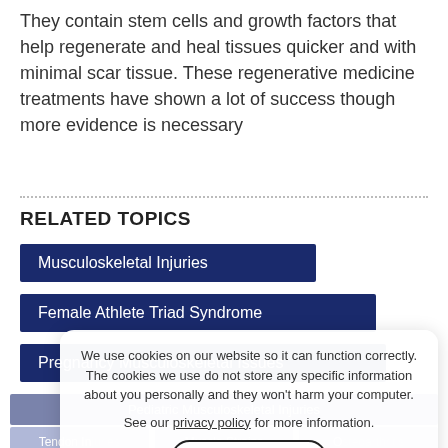They contain stem cells and growth factors that help regenerate and heal tissues quicker and with minimal scar tissue. These regenerative medicine treatments have shown a lot of success though more evidence is necessary
RELATED TOPICS
Musculoskeletal Injuries
Female Athlete Triad Syndrome
Pregnancy Musculoskeletal Issues
Pediatric Musculoskeletal Injuries
Tendon Injuries | Muscle Strains | Osteoarthritis
Muscle and Joint Pain | Overuse Injuries
We use cookies on our website so it can function correctly. The cookies we use do not store any specific information about you personally and they won't harm your computer. See our privacy policy for more information.